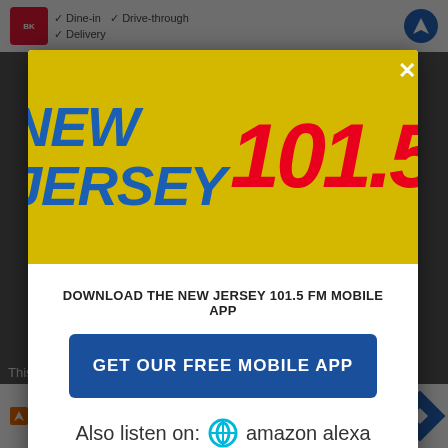[Figure (screenshot): Background webpage showing Burger King ad with Dine-in, Drive-through, Delivery options and a map navigation icon, partially visible behind modal overlay]
[Figure (logo): New Jersey 101.5 FM radio station logo on yellow background. 'NEW JERSEY' in large bold blue italic text, '101.5' in large bold red italic text]
DOWNLOAD THE NEW JERSEY 101.5 FM MOBILE APP
GET OUR FREE MOBILE APP
Also listen on:  amazon alexa
[Figure (screenshot): Bottom ad banner showing a restaurant logo, checkmarks for Dine-in and Curbside pickup, and a blue navigation diamond icon. Text: 'This is...' and 'ios,']